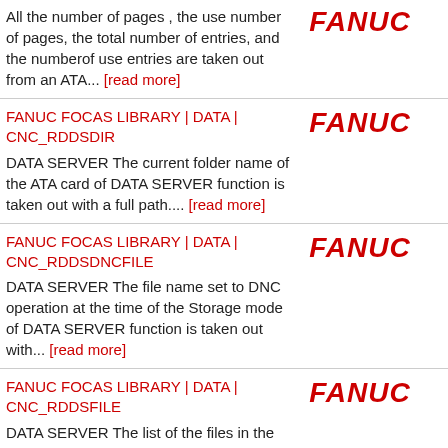All the number of pages , the use number of pages, the total number of entries, and the numberof use entries are taken out from an ATA... [read more]
[Figure (logo): FANUC logo in red italic bold text]
FANUC FOCAS LIBRARY | DATA | CNC_RDDSDIR
DATA SERVER The current folder name of the ATA card of DATA SERVER function is taken out with a full path.... [read more]
[Figure (logo): FANUC logo in red italic bold text]
FANUC FOCAS LIBRARY | DATA | CNC_RDDSDNCFILE
DATA SERVER The file name set to DNC operation at the time of the Storage mode of DATA SERVER function is taken out with... [read more]
[Figure (logo): FANUC logo in red italic bold text]
FANUC FOCAS LIBRARY | DATA | CNC_RDDSFILE
DATA SERVER The list of the files in the current folder of DATA SERVER function (a
[Figure (logo): FANUC logo in red italic bold text]